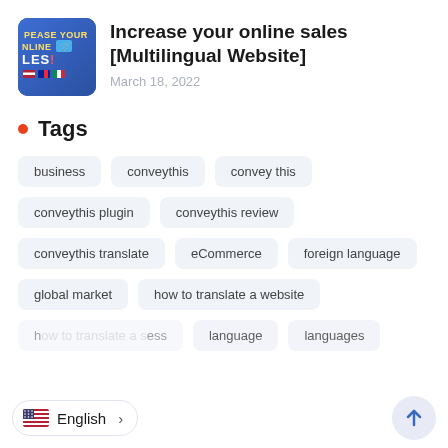[Figure (illustration): Thumbnail image with colorful text reading 'INCREASE YOUR ONLINE SALES' with flag icons and a shopping cart icon.]
Increase your online sales [Multilingual Website]
March 18, 2022
Tags
business
conveythis
convey this
conveythis plugin
conveythis review
conveythis translate
eCommerce
foreign language
global market
how to translate a website
language
languages